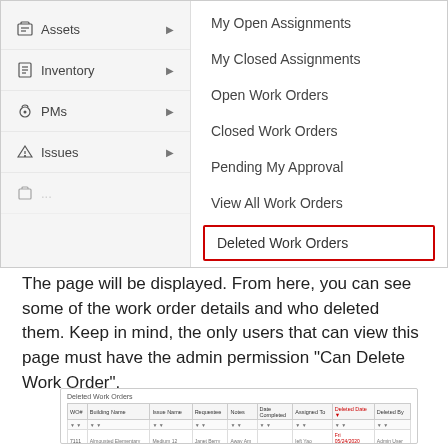[Figure (screenshot): Application screenshot showing a left navigation panel with Assets, Inventory, PMs, Issues menu items and a right submenu panel showing: My Open Assignments, My Closed Assignments, Open Work Orders, Closed Work Orders, Pending My Approval, View All Work Orders, and Deleted Work Orders (highlighted with red border)]
The page will be displayed. From here, you can see some of the work order details and who deleted them. Keep in mind, the only users that can view this page must have the admin permission "Can Delete Work Order".
[Figure (screenshot): Screenshot of Deleted Work Orders table with columns: WO#, Building Name, Issue Name, Requestee, Notes, Date Completed, Assigned To, Deleted Date, Deleted By. Shows two data rows with sample records.]